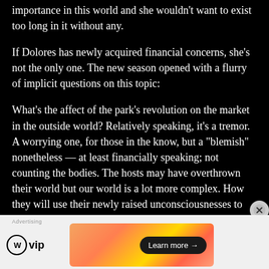importance in this world and she wouldn't want to exist too long in it without any.
If Dolores has newly acquired financial concerns, she's not the only one. The new season opened with a flurry of implicit questions on this topic:
What's the affect of the park's revolution on the market in the outside world? Relatively speaking, it's a tremor. A worrying one, for those in the know, but a "blemish" nonetheless — at least financially speaking; not counting the bodies. The hosts may have overthrown their world but our world is a lot more complex. How they will use their newly raised unconsciousnesses to
[Figure (other): WordPress VIP advertisement banner with logo and 'Learn more' button on gradient orange/gold background]